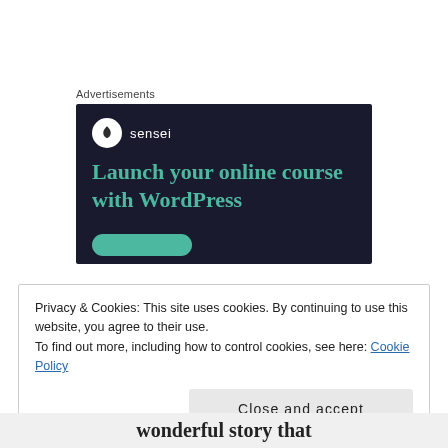Advertisements
[Figure (other): Advertisement banner for Sensei plugin: dark navy background, Sensei logo (tree in white circle) with brand name, headline 'Launch your online course with WordPress' in teal, teal rounded button partially visible at bottom.]
Privacy & Cookies: This site uses cookies. By continuing to use this website, you agree to their use.
To find out more, including how to control cookies, see here: Cookie Policy
Close and accept
wonderful story that